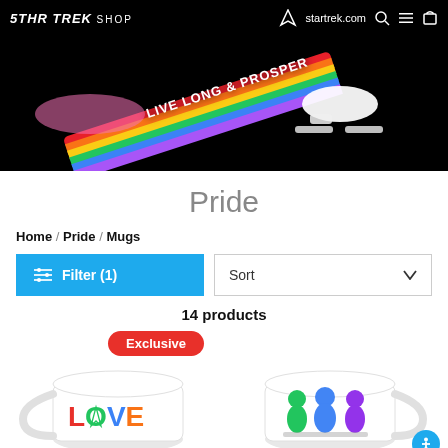STAR TREK SHOP | startrek.com
[Figure (illustration): Black banner with rainbow diagonal streak and white Star Trek starship silhouette. Text reads LIVE LONG & PROSPER in white on the rainbow streak.]
Pride
Home / Pride / Mugs
Filter (1)   Sort
14 products
Exclusive
[Figure (photo): White ceramic mug with rainbow-colored LOVE text where the O is replaced by the Star Trek Starfleet delta/insignia symbol.]
[Figure (photo): White ceramic mug with colorful silhouette figures of alien Star Trek characters in green, blue, and purple.]